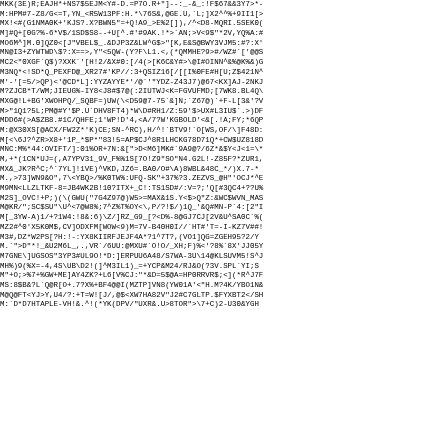MKK(3E)R;EAJH*+NS7$5EJM<Y#-D.=P7O.R+"]--:_-&_:!F$67&&3Y7>*-
M:HPM#7-Z8/G<=T,YN_<R5W13PF:H.*\76S&,@GE.U,`L;]X2^^%+9II1[>
MX!<#(G1NMA0K+'KJS?.X?BWN5"=+Q!A9_>E%2[]),/^<D8-MQRI.5SEK0(
M]#Q+[0G?%-6*V$/1SD$S8--+U[^.#'#9AK.!*>`AN;>V<9$"*2V,YQ%A:#
MO6M^]M.0]QZ0<[J"VBEL$_.&DJP3Z&LW^G$>"[K,E&S@BWY3VJM5:#?:X'
MN@I3+ZYWTWD\$?:X==>,Y"<5QW-(Y?F\L1.<,(*QMMHE?9>#/WZ#`['@@S
MC2<"0XGF`Q$)?XXK`'[H!2/&X#0:[/4(>[K6C&Y#>\@I#OINN^&%@K%&)G
M3NQ*<!SD*Q_PEXFD@_XR27#'KP//:3+QSIZ16[/[[I%0FE#H[U;Z$421N^
M'-'[=5/>QP)<'@CD*L]:YYZAYYE*'/@`'"YDZ-Z43J7)@67<KX]AJ-2NKJ
M?ZJCB*T/WM;JIEUG%-IY8<J8#$7@(:2IUTWJ<K=FGVUFMD;[7WK8.BL4Q\
MXG@!L+BG'XWOHPQ/_SQBF=)UW(\<D59@7-75`&]N;`Z67@)`+F-L[3&'?V
M>"1Q1?5L;PM@#Y'$P.U`DHV8FT4)*W\D#RH1/Z:59'$>UX#L3IU$`.>)DF
MDD6#(>A$ZB8.#1C/QHFE;1'WP!D'4,<A/7?W'KGBOLD'<&[.!A;FY;*6QP
M:@X30XS[@ACX/FW2Z*'K)CE;SN-^RC),H/^!`BTV9!`O[WS,OF/\]F48D:
M[<\6J?^ZR>X8+'1P_*$P*"83!5=AP$CJ^8R1LHCKG78D71Q*+CW$UZ818D
MNC:M%*44:OVIFT/]:01%OR+7N:&[">D<M6]MK#`9A9@?/6Z*&$Y<J<1=\*
M,+*(1CN*UJ=(,A7YPV31_9V_F%%1S[7O!Z9"SO"N4.G2L!-Z85F?*ZUR1,
MX&_JK?R^C;^`7YL]!1VE)^VKD,JZ6=.BA0/O#\A)8WBL&48C_*/)X.7-*
M.,>73]WN9&O",7\<YBQ>/%K0TW%:UFQ-SK"+37%?3.ZEZVS_@H"'OCJ*^E
M9MN<LLZLTKF-8=JB4WK2B!10?ITX+_C!:TS1SD#/:V=?;'Q[#3QC4+??U%
M2S]_OVC!+P;)(\(GWU("7G4Z97@)W5>=MAX&1S.Y<$>Q"Z:&WC$WVN_MAS
M@KR/";SC$SU"\U^<7@W8%;7^Z%T%OY<\,P/?!$/)1Q_'&Q#MN-P`4:[2"I
M[_3YW-A)1/+?1W4:!8&:6)\Z/]RZ_G9_[?<D%-8@GJ7CJ[2V&U^SA0C`%(
MZ2#^0'X5K0M$,CV]ODXFM[WOW<9)M=7V-B40H0I//`HT#'T=-I-KZ7V##!
M3#,DZ*W2PS[?H:!-:YX8KIIRFJEJF4A*?1^7T?,(VO1]QG=ZGEH95?2/Y
M.`">D"*!_&U2M6L_,.,VR`/6UU:@MXU#`O!O/_XH;F)%<'?8%`8X'JJ05Y
M7GNE\]UGSOS"3YP3#UL9O!*D:]ERPUU6A48/S7WA-3U\14@KLSUVM5!S^J
MH%)9(%X=-4,4S\UB\D2!(]^M3IL1)_=+YCP&M24/RJ&O(?3V.SPL`YI;S
M"+O;>%7+%GW+ME]AY4ZK?+L6[V%CJ:"*&D=5$@A=HP0RRVR$;<](*R^J7F
MS:8$B&?L`Q@R[O+.7?X%+BF4@@I(MZTP]VN8(YW01A'<"H.M?4K/YBO1N&
M@Q@FT<YJ>Y,U4/?:+T=W![J/,@$<XW7HA82V"J2#C7GLTP.$FYXBT2</SH
M:`D*D7HTAPLE-VH!&.^!(*YK(DPV/"UXR&.U>8TOR">\7+C)2-U30&YGH